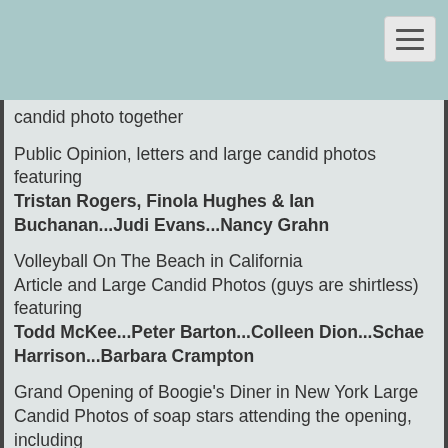candid photo together
Public Opinion, letters and large candid photos featuring Tristan Rogers, Finola Hughes & Ian Buchanan...Judi Evans...Nancy Grahn
Volleyball On The Beach in California
Article and Large Candid Photos (guys are shirtless) featuring Todd McKee...Peter Barton...Colleen Dion...Schae Harrison...Barbara Crampton
Grand Opening of Boogie's Diner in New York Large Candid Photos of soap stars attending the opening, including Jeff Phillips & brother, Doug...Heather Rattray...Frank Dicopoulos...Amelia Marshall & boyfriend, Darryl Waters...Melissa Hayden &